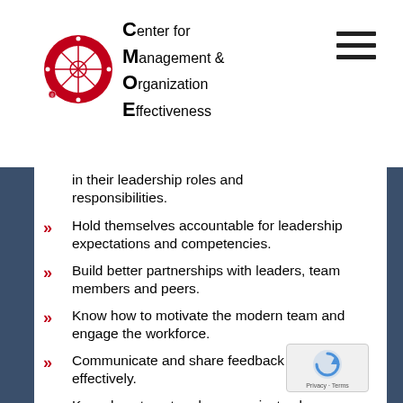[Figure (logo): CMOE logo: red circular emblem with segments, beside text reading Center for Management & Organization Effectiveness]
[Figure (other): Hamburger menu icon (three horizontal bars)]
in their leadership roles and responsibilities.
Hold themselves accountable for leadership expectations and competencies.
Build better partnerships with leaders, team members and peers.
Know how to motivate the modern team and engage the workforce.
Communicate and share feedback more effectively.
Know how to set and communicate clear direction for their team.
Encourage active participation and engagement of team members.